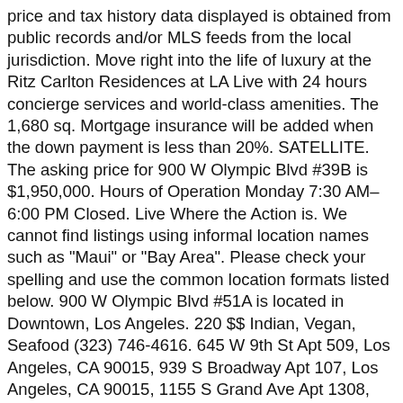price and tax history data displayed is obtained from public records and/or MLS feeds from the local jurisdiction. Move right into the life of luxury at the Ritz Carlton Residences at LA Live with 24 hours concierge services and world-class amenities. The 1,680 sq. Mortgage insurance will be added when the down payment is less than 20%. SATELLITE. The asking price for 900 W Olympic Blvd #39B is $1,950,000. Hours of Operation Monday 7:30 AM–6:00 PM Closed. Live Where the Action is. We cannot find listings using informal location names such as "Maui" or "Bay Area". Please check your spelling and use the common location formats listed below. 900 W Olympic Blvd #51A is located in Downtown, Los Angeles. 220 $$ Indian, Vegan, Seafood (323) 746-4616. 645 W 9th St Apt 509, Los Angeles, CA 90015, 939 S Broadway Apt 107, Los Angeles, CA 90015, 1155 S Grand Ave Apt 1308, Los Angeles, CA 90015, 645 W 9th St Apt 433, Los Angeles, CA 90015, 645 W 9th St Apt 403, Los Angeles, CA 90015, 1155 S Grand Ave Apt 306, Los Angeles, CA 90015, 1155 S Grand Ave Apt 1211, Los Angeles, CA 90015, 1111 S Grand Ave Apt 609, Los Angeles, CA 90015, 1100 S Hope St Apt 1203, Los Angeles, CA 90015, 939 S Broadway Apt 402, Los Angeles, CA 90015, 645 W 9th St Apt 724, Los Angeles, CA 90015, 645 W 9th St Apt 613, Los Angeles, CA 90015. 900 W Olympic Blvd #39B, Los Angeles, CA 90015 is a 2 bedroom, 2 bathroom, 1,960